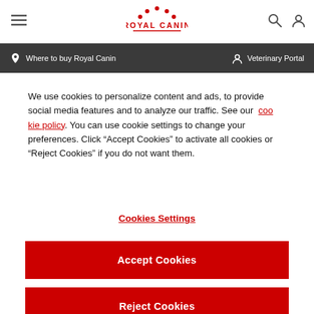Royal Canin website header with hamburger menu, Royal Canin logo, search and account icons
Where to buy Royal Canin | Veterinary Portal
We use cookies to personalize content and ads, to provide social media features and to analyze our traffic. See our cookie policy. You can use cookie settings to change your preferences. Click “Accept Cookies” to activate all cookies or “Reject Cookies” if you do not want them.
Cookies Settings
Accept Cookies
Reject Cookies